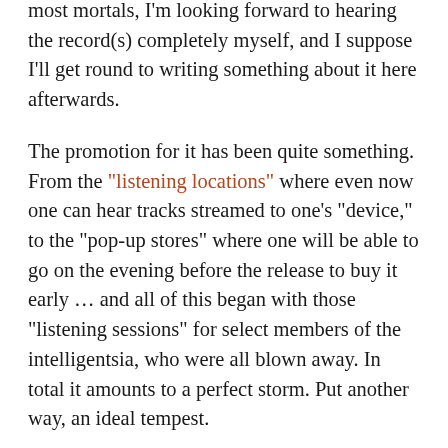most mortals, I'm looking forward to hearing the record(s) completely myself, and I suppose I'll get round to writing something about it here afterwards.
The promotion for it has been quite something. From the “listening locations” where even now one can hear tracks streamed to one’s “device,” to the “pop-up stores” where one will be able to go on the evening before the release to buy it early … and all of this began with those “listening sessions” for select members of the intelligentsia, who were all blown away. In total it amounts to a perfect storm. Put another way, an ideal tempest.
It’s amazing to contemplate. If you’d told someone back in 1970 that forty-two years hence the release of a new Bob Dylan album would be such a huge occasion, they’d have thought you were smoking something…